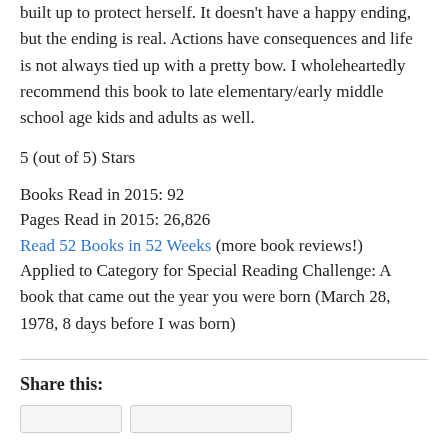built up to protect herself. It doesn't have a happy ending, but the ending is real. Actions have consequences and life is not always tied up with a pretty bow. I wholeheartedly recommend this book to late elementary/early middle school age kids and adults as well.
5 (out of 5) Stars
Books Read in 2015: 92
Pages Read in 2015: 26,826
Read 52 Books in 52 Weeks (more book reviews!)
Applied to Category for Special Reading Challenge: A book that came out the year you were born (March 28, 1978, 8 days before I was born)
Share this: